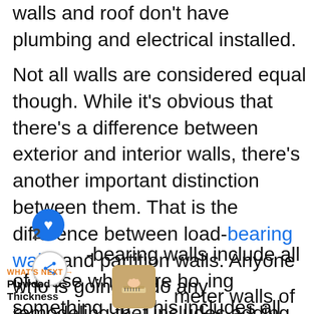walls and roof don't have plumbing and electrical installed.
Not all walls are considered equal though. While it's obvious that there's a difference between exterior and interior walls, there's another important distinction between them. That is the difference between load-bearing walls and partition walls. Anyone who is going to do any remodeling that includes adding, removing or moving walls had better know the difference between the two.
Load-bearing walls include all of those which are holding something up. This includes all the perimeter walls of the home, but it usually includes some of the interior walls as well. Specifically, if you divide a home in half, along its
[Figure (infographic): UI overlay showing heart/like button (blue circle with heart icon), share button, 'WHAT'S NEXT' label with arrow pointing to Plywood Thickness, and a thumbnail image of someone using a measuring tape]